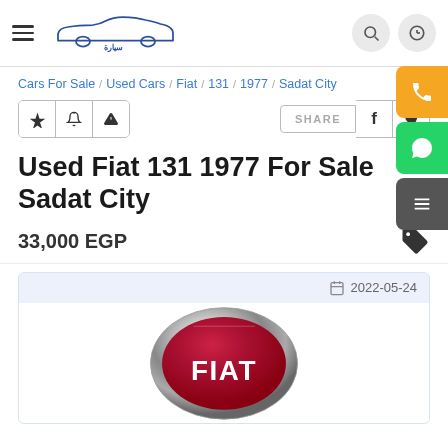Syarah car listings website header with logo and navigation
Cars For Sale / Used Cars / Fiat / 131 / 1977 / Sadat City
Used Fiat 131 1977 For Sale Sadat City
33,000 EGP
2022-05-24
[Figure (logo): FIAT car brand logo - red shield with chrome border and FIAT text in white]